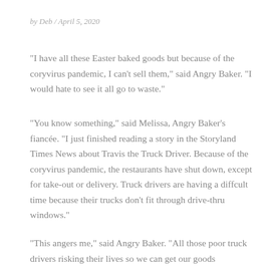by Deb / April 5, 2020
"I have all these Easter baked goods but because of the coryvirus pandemic, I can't sell them," said Angry Baker. "I would hate to see it all go to waste."
"You know something," said Melissa, Angry Baker's fiancée. "I just finished reading a story in the Storyland Times News about Travis the Truck Driver. Because of the coryvirus pandemic, the restaurants have shut down, except for take-out or delivery. Truck drivers are having a diffcult time because their trucks don't fit through drive-thru windows."
"This angers me," said Angry Baker. "All those poor truck drivers risking their lives so we can get our goods delivered to us and they can't get something to